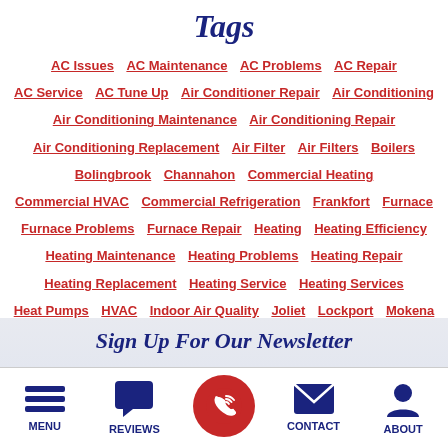Tags
AC Issues  AC Maintenance  AC Problems  AC Repair  AC Service  AC Tune Up  Air Conditioner Repair  Air Conditioning  Air Conditioning Maintenance  Air Conditioning Repair  Air Conditioning Replacement  Air Filter  Air Filters  Boilers  Bolingbrook  Channahon  Commercial Heating  Commercial HVAC  Commercial Refrigeration  Frankfort  Furnace  Furnace Problems  Furnace Repair  Heating  Heating Efficiency  Heating Maintenance  Heating Problems  Heating Repair  Heating Replacement  Heating Service  Heating Services  Heat Pumps  HVAC  Indoor Air Quality  Joliet  Lockport  Mokena  New Lenox  Orland Park  Plainfield  Romeoville  Shorewood  Smart Thermostat  Water Heater Repair  Water Heaters
Sign Up For Our Newsletter
MENU  REVIEWS  CONTACT  ABOUT